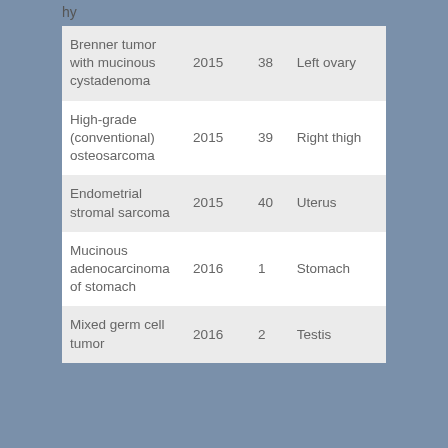hy
| Brenner tumor with mucinous cystadenoma | 2015 | 38 | Left ovary |
| High-grade (conventional) osteosarcoma | 2015 | 39 | Right thigh |
| Endometrial stromal sarcoma | 2015 | 40 | Uterus |
| Mucinous adenocarcinoma of stomach | 2016 | 1 | Stomach |
| Mixed germ cell tumor | 2016 | 2 | Testis |